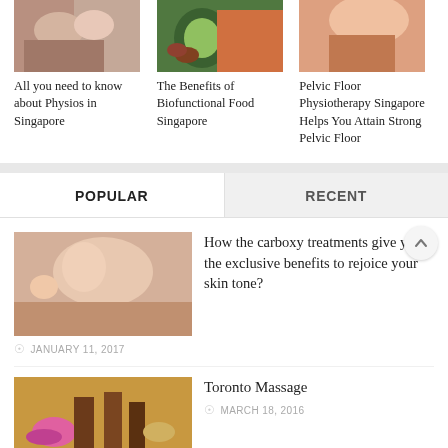[Figure (photo): Physiotherapy massage session photo]
[Figure (photo): Biofunctional food items including avocado and salmon]
[Figure (photo): Pelvic floor physiotherapy photo]
All you need to know about Physios in Singapore
The Benefits of Biofunctional Food Singapore
Pelvic Floor Physiotherapy Singapore Helps You Attain Strong Pelvic Floor
POPULAR
RECENT
[Figure (photo): Woman receiving carboxy facial treatment]
How the carboxy treatments give you the exclusive benefits to rejoice your skin tone?
JANUARY 11, 2017
[Figure (photo): Toronto massage therapy with oils and stones]
Toronto Massage
MARCH 18, 2016